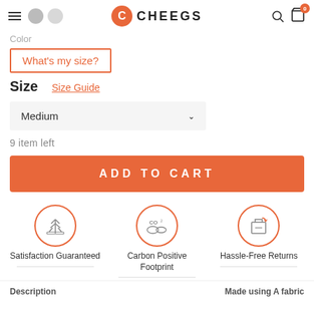CHEEGS — navigation header with menu, logo, search and cart
Color
What's my size?
Size    Size Guide
Medium
9 item left
ADD TO CART
[Figure (illustration): Three trust badges in circles with icons: Satisfaction Guaranteed (growth/arrows icon), Carbon Positive Footprint (CO2 icon), Hassle-Free Returns (box/return icon)]
Satisfaction Guaranteed
Carbon Positive Footprint
Hassle-Free Returns
Description    Made using A fabric